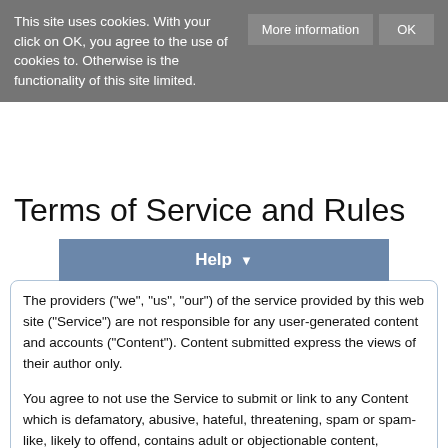This site uses cookies. With your click on OK, you agree to the use of cookies to. Otherwise is the functionality of this site limited.
Terms of Service and Rules
[Figure (other): Help button with dropdown arrow, styled in blue-grey]
The providers ("we", "us", "our") of the service provided by this web site ("Service") are not responsible for any user-generated content and accounts ("Content"). Content submitted express the views of their author only.
You agree to not use the Service to submit or link to any Content which is defamatory, abusive, hateful, threatening, spam or spam-like, likely to offend, contains adult or objectionable content, contains personal information of others, risks copyright infringement, encourages unlawful activity, or otherwise violates any laws.